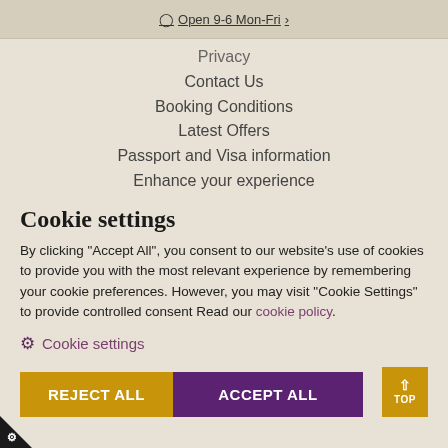Open 9-6 Mon-Fri
Privacy
Contact Us
Booking Conditions
Latest Offers
Passport and Visa information
Enhance your experience
Cookie settings
By clicking "Accept All", you consent to our website's use of cookies to provide you with the most relevant experience by remembering your cookie preferences. However, you may visit "Cookie Settings" to provide controlled consent Read our cookie policy.
Cookie settings
REJECT ALL  ACCEPT ALL  TOP